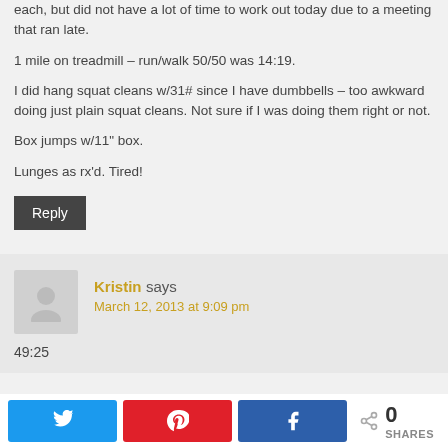each, but did not have a lot of time to work out today due to a meeting that ran late.
1 mile on treadmill – run/walk 50/50 was 14:19.
I did hang squat cleans w/31# since I have dumbbells – too awkward doing just plain squat cleans. Not sure if I was doing them right or not.
Box jumps w/11" box.
Lunges as rx'd. Tired!
Kristin says
March 12, 2013 at 9:09 pm
49:25